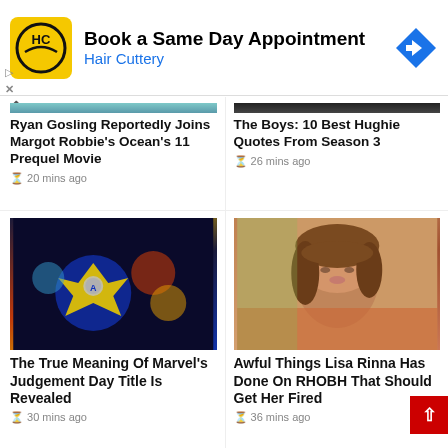[Figure (other): Hair Cuttery advertisement banner with logo, 'Book a Same Day Appointment' text, and navigation arrow icon]
Ryan Gosling Reportedly Joins Margot Robbie's Ocean's 11 Prequel Movie
20 mins ago
The Boys: 10 Best Hughie Quotes From Season 3
26 mins ago
[Figure (photo): Marvel superhero group artwork featuring Captain America and other characters]
The True Meaning Of Marvel's Judgement Day Title Is Revealed
30 mins ago
[Figure (photo): Portrait photo of Lisa Rinna with short layered brown hair]
Awful Things Lisa Rinna Has Done On RHOBH That Should Get Her Fired
36 mins ago